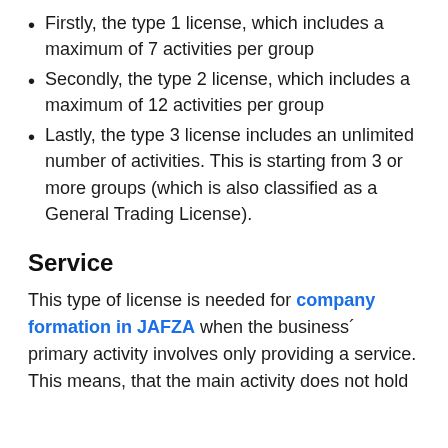Firstly, the type 1 license, which includes a maximum of 7 activities per group
Secondly, the type 2 license, which includes a maximum of 12 activities per group
Lastly, the type 3 license includes an unlimited number of activities. This is starting from 3 or more groups (which is also classified as a General Trading License).
Service
This type of license is needed for company formation in JAFZA when the business´ primary activity involves only providing a service. This means, that the main activity does not hold